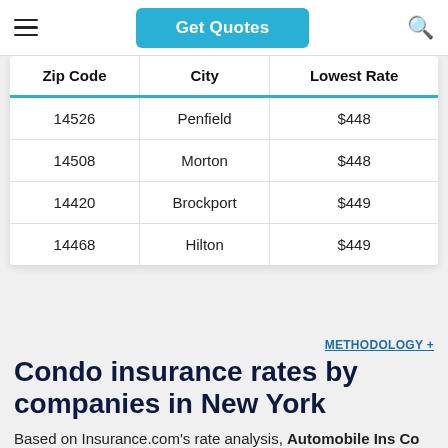Get Quotes
| Zip Code | City | Lowest Rate |
| --- | --- | --- |
| 14526 | Penfield | $448 |
| 14508 | Morton | $448 |
| 14420 | Brockport | $449 |
| 14468 | Hilton | $449 |
METHODOLOGY +
Condo insurance rates by companies in New York
Based on Insurance.com's rate analysis, Automobile Ins Co Of Hartford CT is the cheapest condo insurance company in New York. Its average annual premium for New York